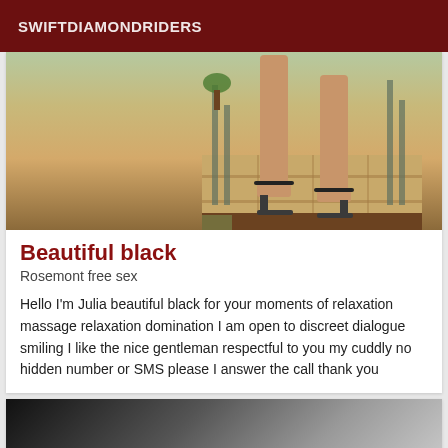SWIFTDIAMONDRIDERS
[Figure (photo): Photo showing woman's legs and feet wearing black strappy high heel sandals, standing on a tiled floor outdoors, with a plant visible in background]
Beautiful black
Rosemont free sex
Hello I'm Julia beautiful black for your moments of relaxation massage relaxation domination I am open to discreet dialogue smiling I like the nice gentleman respectful to you my cuddly no hidden number or SMS please I answer the call thank you
[Figure (photo): Partially visible photo with dark background, appears to show a blurred figure]